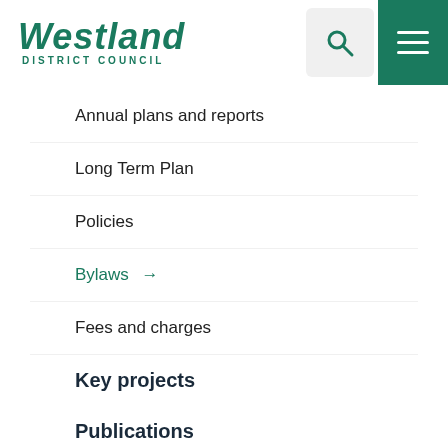[Figure (logo): Westland District Council logo in teal/green italic font with DISTRICT COUNCIL subtitle]
Annual plans and reports
Long Term Plan
Policies
Bylaws →
Fees and charges
Key projects
Publications
Careers